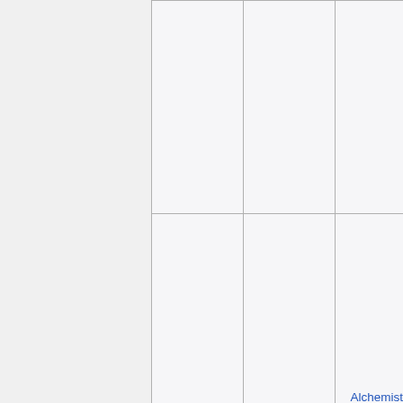|  |  |  |
| Ivris | N/A | Alchemist's Shop |